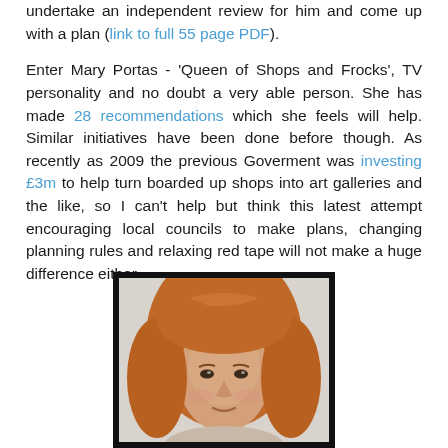undertake an independent review for him and come up with a plan (link to full 55 page PDF).
Enter Mary Portas - 'Queen of Shops and Frocks', TV personality and no doubt a very able person. She has made 28 recommendations which she feels will help. Similar initiatives have been done before though. As recently as 2009 the previous Goverment was investing £3m to help turn boarded up shops into art galleries and the like, so I can't help but think this latest attempt encouraging local councils to make plans, changing planning rules and relaxing red tape will not make a huge difference either.
[Figure (photo): Portrait photograph of Mary Portas, a woman with reddish-auburn hair with bangs, looking directly at camera, shown from forehead to chin level, with a light background.]